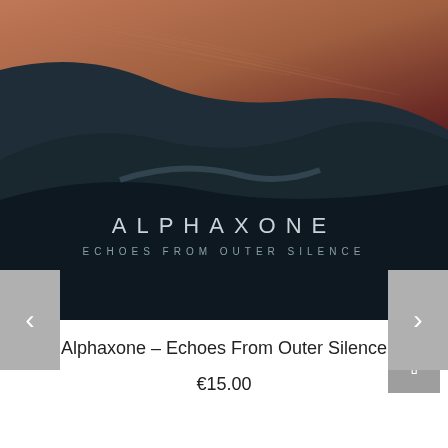[Figure (photo): Album cover art for Alphaxone - Echoes From Outer Silence. Dark aerial landscape with reddish-brown terrain at top and dark hillside below. White text reads 'ALPHAXONE' and 'ECHOES FROM OUTER SILENCE' in spaced lettering.]
Alphaxone – Echoes From Outer Silence
€15.00